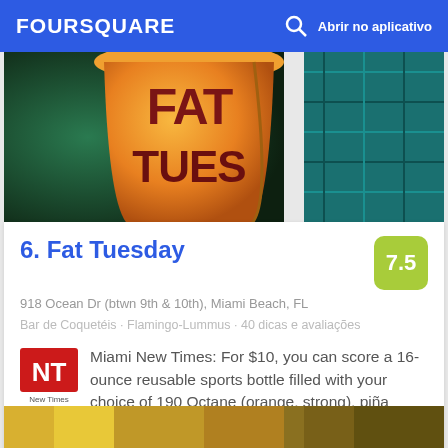FOURSQUARE  Abrir no aplicativo
[Figure (photo): Photo of Fat Tuesday bar cup with orange cup showing 'FAT TUES' text, teal tile background on right side]
6. Fat Tuesday
918 Ocean Dr (btwn 9th & 10th), Miami Beach, FL
Bar de Coquetéis · Flamingo-Lummus · 40 dicas e avaliações
Miami New Times: For $10, you can score a 16-ounce reusable sports bottle filled with your choice of 190 Octane (orange, strong), piña colada, strawberry, or a host of other frozen flavors.
[Figure (photo): Bottom partial photo showing golden/warm tones]